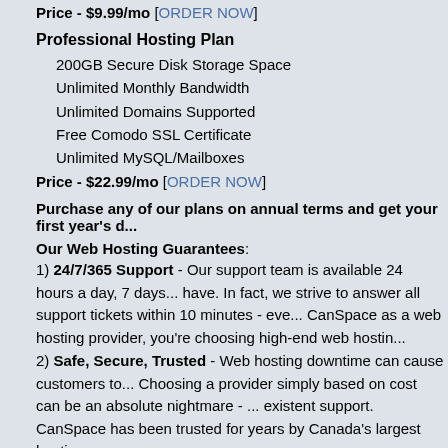Price - $9.99/mo [ORDER NOW]
Professional Hosting Plan
200GB Secure Disk Storage Space
Unlimited Monthly Bandwidth
Unlimited Domains Supported
Free Comodo SSL Certificate
Unlimited MySQL/Mailboxes
Price - $22.99/mo [ORDER NOW]
Purchase any of our plans on annual terms and get your first year's d...
Our Web Hosting Guarantees:
1) 24/7/365 Support - Our support team is available 24 hours a day, 7 days... have. In fact, we strive to answer all support tickets within 10 minutes - eve... CanSpace as a web hosting provider, you're choosing high-end web hostin...
2) Safe, Secure, Trusted - Web hosting downtime can cause customers to... Choosing a provider simply based on cost can be an absolute nightmare - ... existent support. CanSpace has been trusted for years by Canada's largest hosting.
3) 30 Day Guarantee - When you choose CanSpace for your company's w... professionalism and peace of mind. We're so confident that you'll be satisfie... refund your money if you aren't! All our standard web hosting packages are... guarantee.
4) No Overselling - Unlike our competitors, we don't offer unrealistic web h... bandwidth for $1 a month" - leading to slow loading and often inaccessible... hosting service and reliability that Canadians have come to expect from Ca...
5) We Value your Business - We realize your website is the key to your b...